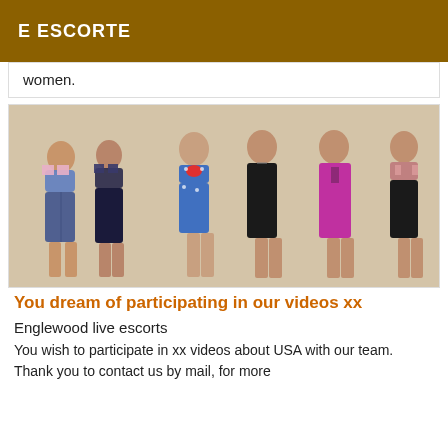E ESCORTE
women.
[Figure (photo): Six young women posing together in various swimsuits and bikinis against a white background.]
You dream of participating in our videos xx
Englewood live escorts
You wish to participate in xx videos about USA with our team. Thank you to contact us by mail, for more